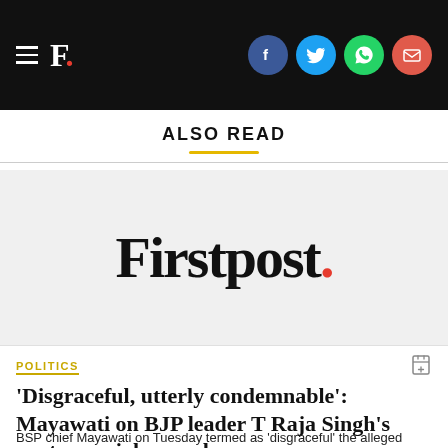[Figure (screenshot): Black header bar with hamburger menu, F. logo (Firstpost), and social media icons for Facebook, Twitter, WhatsApp, and Email]
ALSO READ
[Figure (logo): Firstpost logo in large serif font on grey background with red dot]
POLITICS
'Disgraceful, utterly condemnable': Mayawati on BJP leader T Raja Singh's controversial remarks
BSP chief Mayawati on Tuesday termed as 'disgraceful' the alleged remarks made by the BJP leader against a religion and asked if it was not